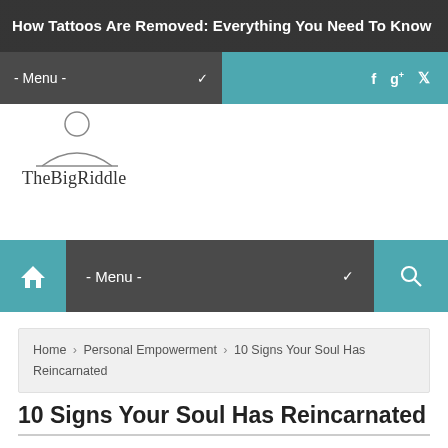How Tattoos Are Removed: Everything You Need To Know
- Menu - (navigation bar with social icons: f, g+, twitter)
[Figure (logo): TheBigRiddle logo: a stylized person silhouette icon above the text 'TheBigRiddle']
- Menu - (main navigation bar with home icon and search icon)
Home > Personal Empowerment > 10 Signs Your Soul Has Reincarnated
10 Signs Your Soul Has Reincarnated